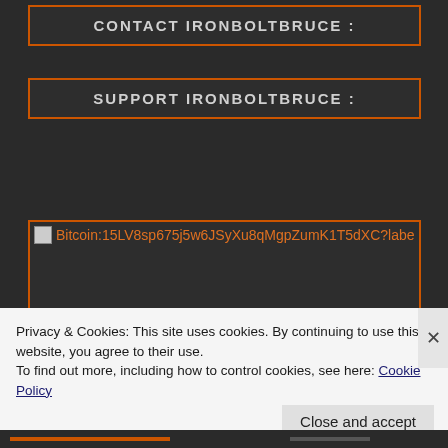CONTACT IRONBOLTBRUCE
SUPPORT IRONBOLTBRUCE
[Figure (other): Broken image placeholder with Bitcoin address: Bitcoin:15LV8sp675j5w6JSyXu8qMgpZumK1T5dXC?labe]
Privacy & Cookies: This site uses cookies. By continuing to use this website, you agree to their use.
To find out more, including how to control cookies, see here: Cookie Policy
Close and accept